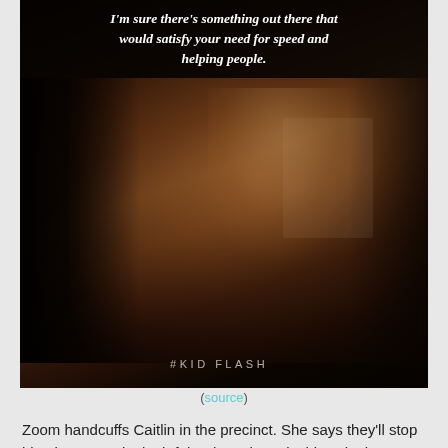[Figure (photo): A dark-toned TV scene screenshot showing a young man in a black jacket and white t-shirt. At the top, white italic bold text reads: I'm sure there's something out there that would satisfy your need for speed and helping people. At the bottom, text reads #KID FLASH.]
(source)
Zoom handcuffs Caitlin in the precinct. She says they'll stop him, but Zoom is doubtful. When she asks him why he's keeping her, he says he doesn't want to be alone any more. (This is followed by a brief flashback to his childhood when he entered the orphanage. Wow.) Zoom says he's seen the darkness inside of her, all she has to do is unlock it. (Kylo